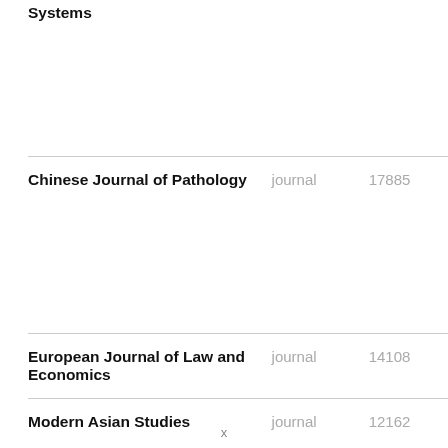| Name | Type | ID |
| --- | --- | --- |
| Systems |  |  |
| Chinese Journal of Pathology | journal | 17885 |
| European Journal of Law and Economics | journal | 14108 |
| Modern Asian Studies | journal | 12162 |
x